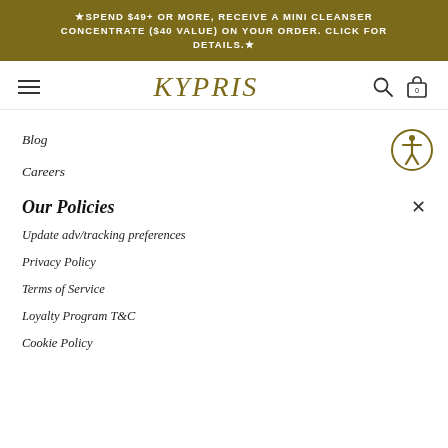★SPEND $49+ OR MORE, RECEIVE A MINI CLEANSER CONCENTRATE ($40 VALUE) ON YOUR ORDER. CLICK FOR DETAILS.★
KYPRIS
Blog
Careers
Our Policies
Update adv/tracking preferences
Privacy Policy
Terms of Service
Loyalty Program T&C
Cookie Policy